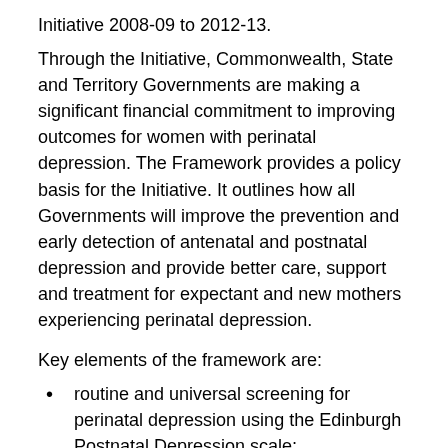Initiative 2008-09 to 2012-13.
Through the Initiative, Commonwealth, State and Territory Governments are making a significant financial commitment to improving outcomes for women with perinatal depression. The Framework provides a policy basis for the Initiative. It outlines how all Governments will improve the prevention and early detection of antenatal and postnatal depression and provide better care, support and treatment for expectant and new mothers experiencing perinatal depression.
Key elements of the framework are:
routine and universal screening for perinatal depression using the Edinburgh Postnatal Depression scale;
follow up support and care for women assessed as being at risk of or experiencing perinatal